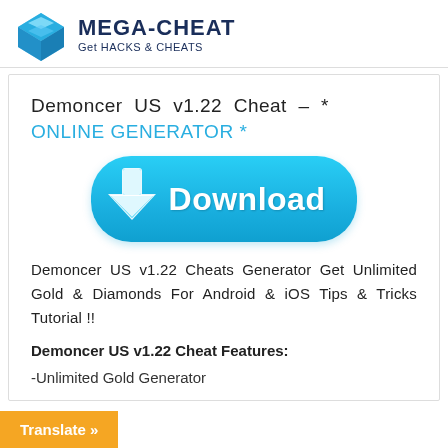MEGA-CHEAT Get HACKS & CHEATS
Demoncer US v1.22 Cheat – * ONLINE GENERATOR *
[Figure (illustration): Blue download button with downward arrow icon and white text 'Download']
Demoncer US v1.22 Cheats Generator Get Unlimited Gold & Diamonds For Android & iOS Tips & Tricks Tutorial !!
Demoncer US v1.22 Cheat Features:
-Unlimited Gold Generator
Translate »